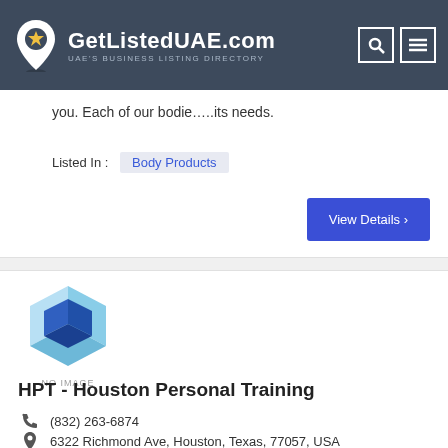GetListedUAE.com — UAE's Business Listing Directory
you. Each of our bodie…..its needs.
Listed In : Body Products
View Details >
[Figure (logo): 3D blue cube / no image placeholder logo]
HPT - Houston Personal Training
(832) 263-6874
6322 Richmond Ave, Houston, Texas, 77057, USA